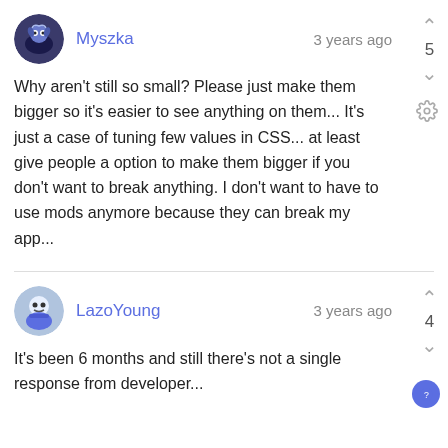Myszka · 3 years ago
Why aren't still so small? Please just make them bigger so it's easier to see anything on them... It's just a case of tuning few values in CSS... at least give people a option to make them bigger if you don't want to break anything. I don't want to have to use mods anymore because they can break my app...
LazoYoung · 3 years ago
It's been 6 months and still there's not a single response from developer...